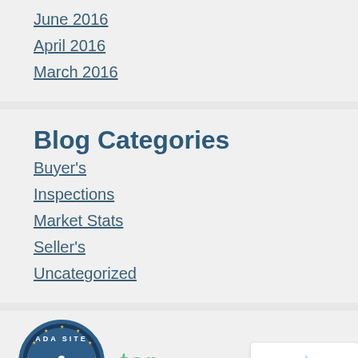June 2016
April 2016
March 2016
Blog Categories
Buyer's
Inspections
Market Stats
Seller's
Uncategorized
[Figure (logo): ADA Site Compliance badge with wheelchair accessibility symbol]
ter
[Figure (other): reCAPTCHA widget with Privacy and Terms text]